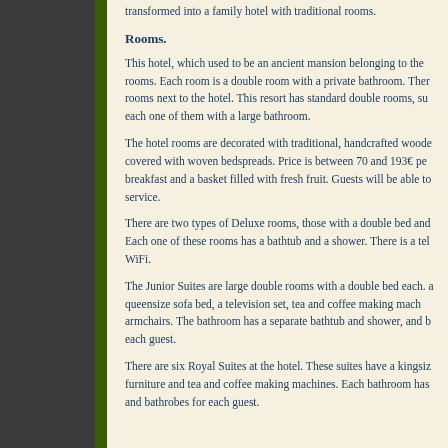transformed into a family hotel with traditional rooms.
Rooms.
This hotel, which used to be an ancient mansion belonging to the rooms. Each room is a double room with a private bathroom. There rooms next to the hotel. This resort has standard double rooms, su each one of them with a large bathroom.
The hotel rooms are decorated with traditional, handcrafted woode covered with woven bedspreads. Price is between 70 and 193€ per breakfast and a basket filled with fresh fruit. Guests will be able to service.
There are two types of Deluxe rooms, those with a double bed and Each one of these rooms has a bathtub and a shower. There is a te WiFi.
The Junior Suites are large double rooms with a double bed each. a queensize sofa bed, a television set, tea and coffee making mach armchairs. The bathroom has a separate bathtub and shower, and b each guest.
There are six Royal Suites at the hotel. These suites have a kingsiz furniture and tea and coffee making machines. Each bathroom has and bathrobes for each guest.